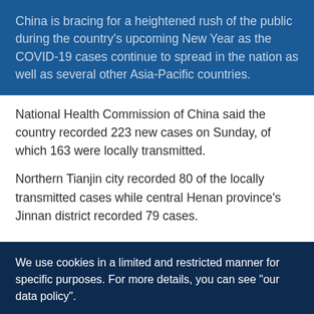China is bracing for a heightened rush of the public during the country's upcoming New Year as the COVID-19 cases continue to spread in the nation as well as several other Asia-Pacific countries.
National Health Commission of China said the country recorded 223 new cases on Sunday, of which 163 were locally transmitted.
Northern Tianjin city recorded 80 of the locally transmitted cases while central Henan province's Jinnan district recorded 79 cases.
We use cookies in a limited and restricted manner for specific purposes. For more details, you can see "our data policy".